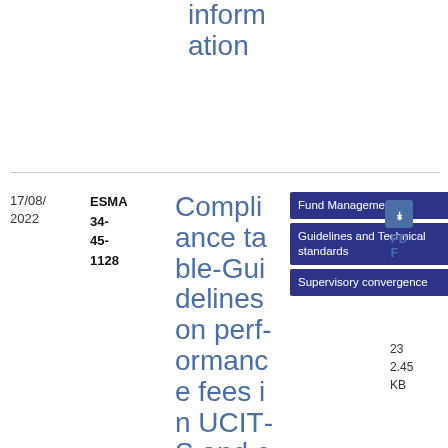information
| Date | Reference | Title | Tags | Type | Download |
| --- | --- | --- | --- | --- | --- |
| 17/08/2022 | ESMA 34-45-1128 | Compliance table- Guidelines on performance fees in UCITS and certain in | Fund Management | Guidelines and Technical standards | Supervisory convergence | Compliance table | PDF | 23
2.45 KB |